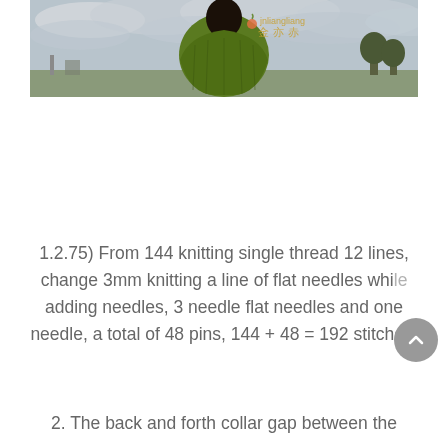[Figure (photo): Person from behind wearing a green knit sweater, standing outdoors with cloudy sky. Watermark text 'jnliangliang' and Chinese characters visible in gold.]
1.2.75) From 144 knitting single thread 12 lines, change 3mm knitting a line of flat needles while adding needles, 3 needle flat needles and one needle, a total of 48 pins, 144 + 48 = 192 stitches.
2. The back and forth collar gap between the